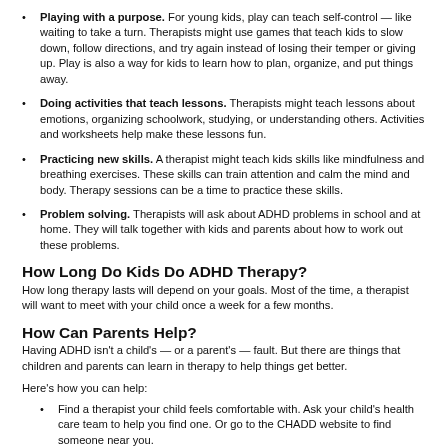Playing with a purpose. For young kids, play can teach self-control — like waiting to take a turn. Therapists might use games that teach kids to slow down, follow directions, and try again instead of losing their temper or giving up. Play is also a way for kids to learn how to plan, organize, and put things away.
Doing activities that teach lessons. Therapists might teach lessons about emotions, organizing schoolwork, studying, or understanding others. Activities and worksheets help make these lessons fun.
Practicing new skills. A therapist might teach kids skills like mindfulness and breathing exercises. These skills can train attention and calm the mind and body. Therapy sessions can be a time to practice these skills.
Problem solving. Therapists will ask about ADHD problems in school and at home. They will talk together with kids and parents about how to work out these problems.
How Long Do Kids Do ADHD Therapy?
How long therapy lasts will depend on your goals. Most of the time, a therapist will want to meet with your child once a week for a few months.
How Can Parents Help?
Having ADHD isn't a child's — or a parent's — fault. But there are things that children and parents can learn in therapy to help things get better.
Here's how you can help:
Find a therapist your child feels comfortable with. Ask your child's health care team to help you find one. Or go to the CHADD website to find someone near you.